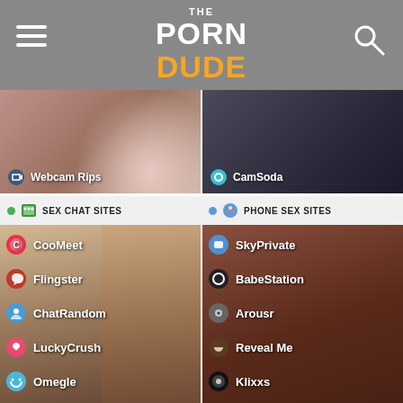THE PORN DUDE
[Figure (screenshot): Webcam Rips thumbnail - left panel top strip]
[Figure (screenshot): CamSoda thumbnail - right panel top strip]
SEX CHAT SITES
PHONE SEX SITES
CooMeet
Flingster
ChatRandom
LuckyCrush
Omegle
SkyPrivate
BabeStation
Arousr
Reveal Me
Klixxs
ibradome.com
3650+
All Porn Sites
69+
Free OnlyFans Leak Sites